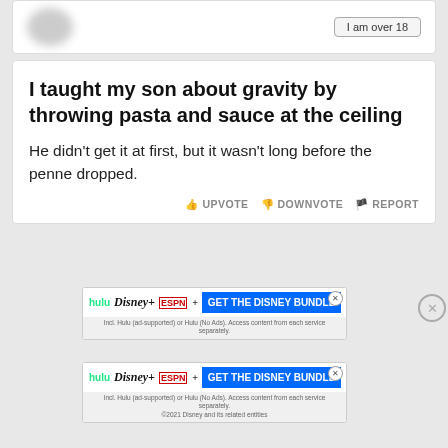[Figure (screenshot): Partial top card showing 'I am over 18' button, partially visible]
I taught my son about gravity by throwing pasta and sauce at the ceiling
He didn't get it at first, but it wasn't long before the penne dropped.
UPVOTE   DOWNVOTE   REPORT
[Figure (screenshot): Disney Bundle advertisement showing hulu, Disney+, ESPN+ logos with GET THE DISNEY BUNDLE CTA button]
[Figure (screenshot): Second Disney Bundle advertisement showing hulu, Disney+, ESPN+ logos with GET THE DISNEY BUNDLE CTA button and fine print text]